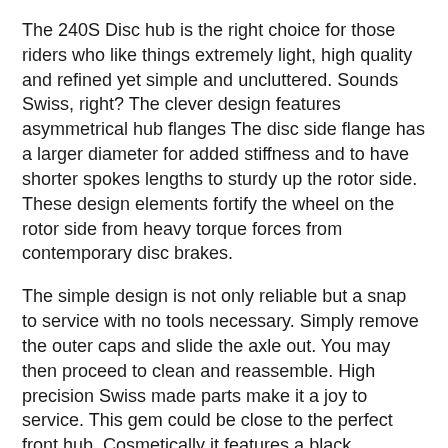The 240S Disc hub is the right choice for those riders who like things extremely light, high quality and refined yet simple and uncluttered. Sounds Swiss, right? The clever design features asymmetrical hub flanges The disc side flange has a larger diameter for added stiffness and to have shorter spokes lengths to sturdy up the rotor side. These design elements fortify the wheel on the rotor side from heavy torque forces from contemporary disc brakes.
The simple design is not only reliable but a snap to service with no tools necessary. Simply remove the outer caps and slide the axle out. You may then proceed to clean and reassemble. High precision Swiss made parts make it a joy to service. This gem could be close to the perfect front hub. Cosmetically it features a black anodized body and end caps that hold up to wear and abuse and clean up well after many miles of use. Updated DT Swiss red cross logo adorns the center of the hub body. Skewer not included.